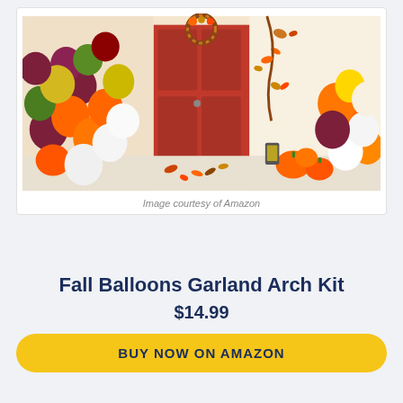[Figure (photo): Fall balloon garland arch kit displayed in front of a red door with autumn pumpkins, leaves, and mixed orange, white, yellow, green, and dark red balloons]
Image courtesy of Amazon
Fall Balloons Garland Arch Kit
$14.99
BUY NOW ON AMAZON